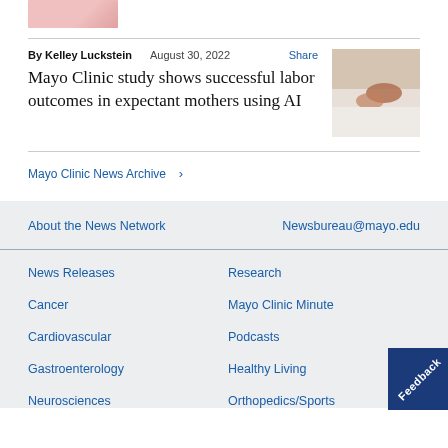[Figure (photo): Partial view of a person lying in bed, pink tones visible]
By Kelley Luckstein    August 30, 2022    Share
Mayo Clinic study shows successful labor outcomes in expectant mothers using AI
[Figure (photo): Hands of a person in hospital/clinical setting, lying on white sheets]
Mayo Clinic News Archive >
About the News Network
Newsbureau@mayo.edu
News Releases
Research
Cancer
Mayo Clinic Minute
Cardiovascular
Podcasts
Gastroenterology
Healthy Living
Neurosciences
Orthopedics/Sports